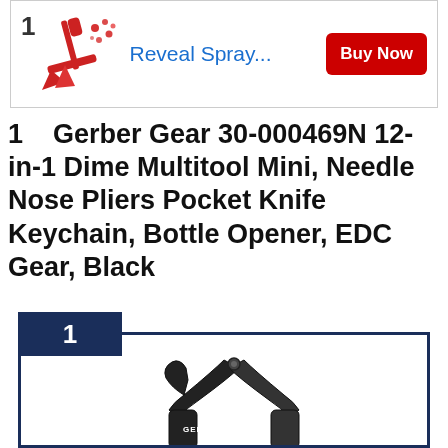[Figure (screenshot): Advertisement banner with product image of spray mop/cleaning tool, text 'Reveal Spray...' and a red 'Buy Now' button]
1   Gerber Gear 30-000469N 12-in-1 Dime Multitool Mini, Needle Nose Pliers Pocket Knife Keychain, Bottle Opener, EDC Gear, Black
[Figure (photo): Product photo of Gerber Dime multitool mini in black, showing needle nose pliers open with GERBER branding visible, inside a dark blue bordered box with rank badge '1']